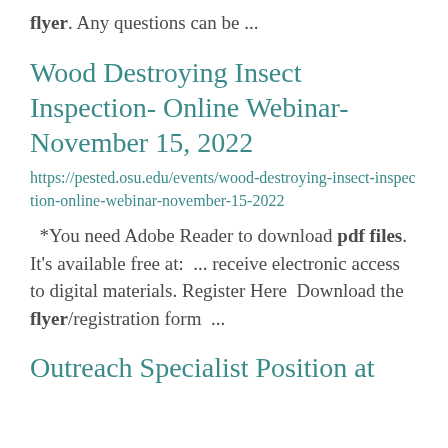flyer.  Any questions can be ...
Wood Destroying Insect Inspection- Online Webinar- November 15, 2022
https://pested.osu.edu/events/wood-destroying-insect-inspection-online-webinar-november-15-2022
*You need Adobe Reader to download pdf files. It's available free at:  ... receive electronic access to digital materials. Register Here  Download the flyer/registration form  ...
Outreach Specialist Position at